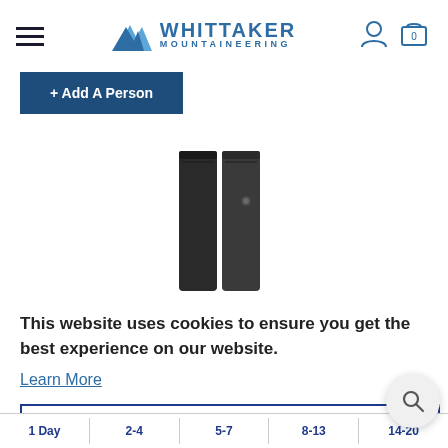Whittaker Mountaineering - navigation header with hamburger menu, logo, user icon, and cart (0)
+ Add A Person
[Figure (photo): Dark colored mountaineering gaiter or boot accessory product photo on white background]
This website uses cookies to ensure you get the best experience on our website. Learn More
Got it!
o the s
1 Day | 2-4 | 5-7 | 8-13 | 14-20